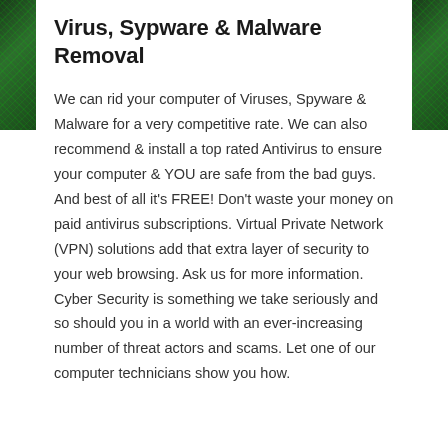Virus, Sypware & Malware Removal
We can rid your computer of Viruses, Spyware & Malware for a very competitive rate. We can also recommend & install a top rated Antivirus to ensure your computer & YOU are safe from the bad guys. And best of all it's FREE! Don't waste your money on paid antivirus subscriptions. Virtual Private Network (VPN) solutions add that extra layer of security to your web browsing. Ask us for more information. Cyber Security is something we take seriously and so should you in a world with an ever-increasing number of threat actors and scams. Let one of our computer technicians show you how.